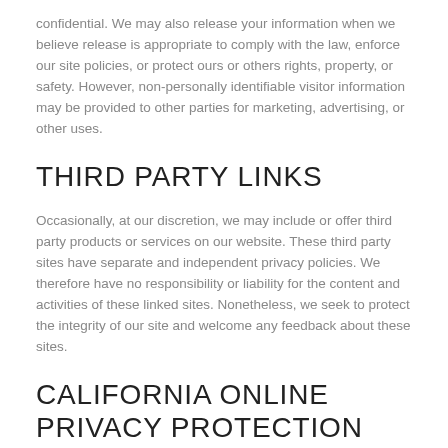confidential. We may also release your information when we believe release is appropriate to comply with the law, enforce our site policies, or protect ours or others rights, property, or safety. However, non-personally identifiable visitor information may be provided to other parties for marketing, advertising, or other uses.
THIRD PARTY LINKS
Occasionally, at our discretion, we may include or offer third party products or services on our website. These third party sites have separate and independent privacy policies. We therefore have no responsibility or liability for the content and activities of these linked sites. Nonetheless, we seek to protect the integrity of our site and welcome any feedback about these sites.
CALIFORNIA ONLINE PRIVACY PROTECTION ACT COMPLIANCE